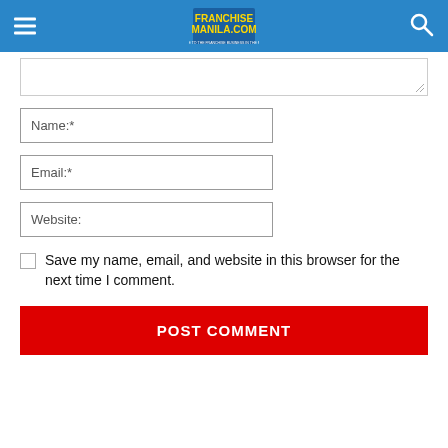FranchiseManila.com
[Figure (screenshot): Textarea input box (comment field) partially visible at top]
Name:*
Email:*
Website:
Save my name, email, and website in this browser for the next time I comment.
POST COMMENT